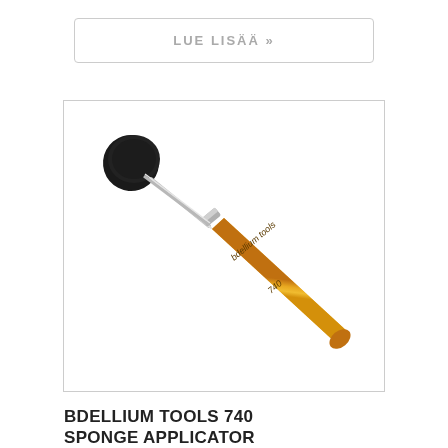LUE LISÄÄ »
[Figure (photo): A makeup sponge applicator brush with a black rounded sponge tip, silver metal ferrule, and a yellow wooden handle labeled 'bdellium tools 740', positioned diagonally.]
BDELLIUM TOOLS 740 SPONGE APPLICATOR